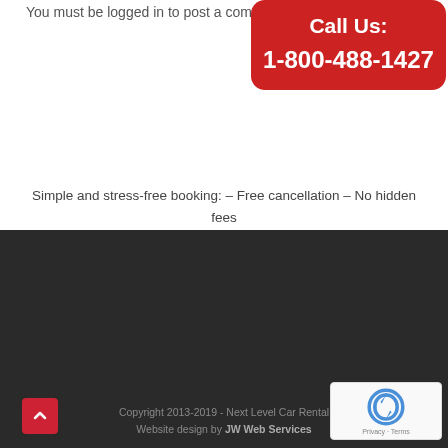You must be logged in to post a comment.
[Figure (other): Red rounded rectangle call-to-action box with white text reading 'Call Us: 1-800-488-1427']
Simple and stress-free booking: – Free cancellation – No hidden fees – 24/7 multilanguage support
Copyright 2013-2019 - Next Level Car Rental Website design by JW Web Services